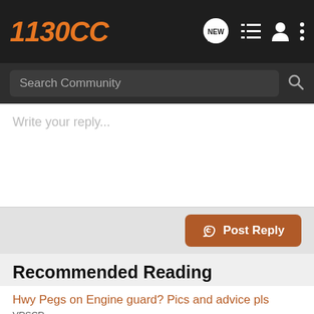1130CC
Search Community
Write your reply...
Post Reply
Recommended Reading
Hwy Pegs on Engine guard? Pics and advice pls
VRSCR
35   7K